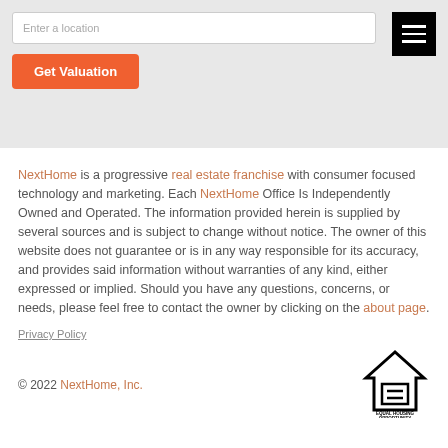[Figure (screenshot): Search bar with placeholder 'Enter a location', orange 'Get Valuation' button, and black hamburger menu icon on gray background]
NextHome is a progressive real estate franchise with consumer focused technology and marketing. Each NextHome Office Is Independently Owned and Operated. The information provided herein is supplied by several sources and is subject to change without notice. The owner of this website does not guarantee or is in any way responsible for its accuracy, and provides said information without warranties of any kind, either expressed or implied. Should you have any questions, concerns, or needs, please feel free to contact the owner by clicking on the about page.
Privacy Policy
© 2022 NextHome, Inc.
[Figure (logo): Equal Housing Opportunity logo — house outline with equal sign, text 'EQUAL HOUSING OPPORTUNITY' below]